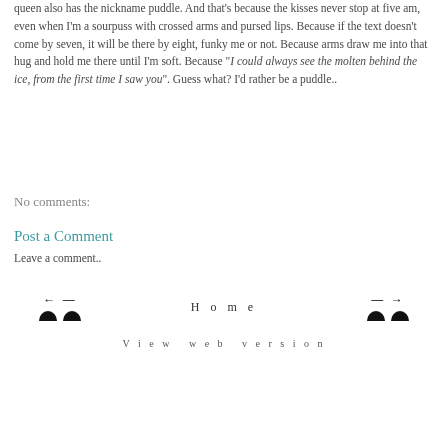queen also has the nickname puddle. And that's because the kisses never stop at five am, even when I'm a sourpuss with crossed arms and pursed lips. Because if the text doesn't come by seven, it will be there by eight, funky me or not. Because arms draw me into that hug and hold me there until I'm soft. Because "I could always see the molten behind the ice, from the first time I saw you". Guess what? I'd rather be a puddle..
No comments:
Post a Comment
Leave a comment..
← —   Home   — →   View web version